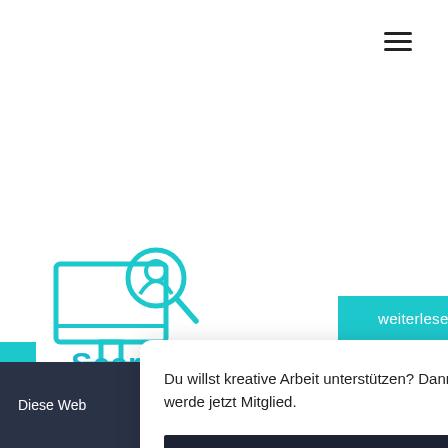[Figure (other): Hamburger menu icon (three horizontal lines) in top right corner]
[Figure (illustration): Cyan outline icon of a desktop computer monitor with a magnifying glass]
weiterlesen...
Search optimisation
Du willst kreative Arbeit unterstützen? Dann werde jetzt Mitglied.
MITGLIED WERDEN
Diese Web
OK
Ne
Sprich mit uns!